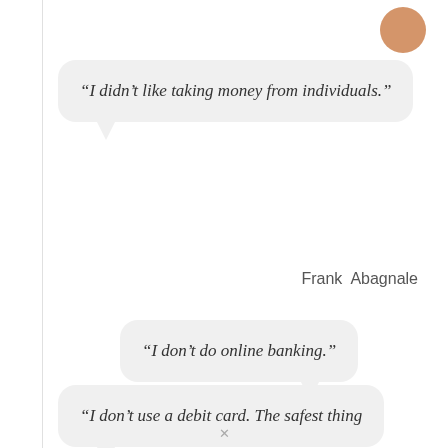“I didn’t like taking money from individuals.”
Frank Abagnale
“I don’t do online banking.”
Frank Abagnale
“I don’t use a debit card. The safest thing